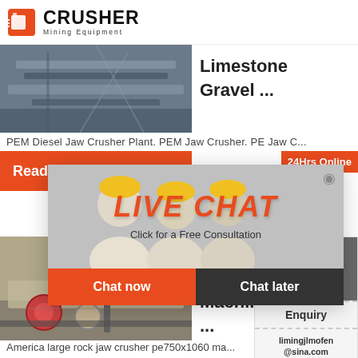CRUSHER Mining Equipment
[Figure (photo): Industrial conveyor/mining structure photo]
Limestone
Gravel ...
PEM Diesel Jaw Crusher Plant. PEM Jaw Crusher. PE Jaw C...
Read M
24Hrs Online
[Figure (screenshot): Live chat popup with workers photo, LIVE CHAT title, 'Click for a Free Consultation', Chat now / Chat later buttons]
[Figure (photo): America large rock jaw crusher pe750x1060 mobile machine photo]
Stone M... Mill Cru... Machin... ...
America large rock jaw crusher pe750x1060 ma...
Need questions & suggestion?
Chat Now
Enquiry
limingjlmofen@sina.com